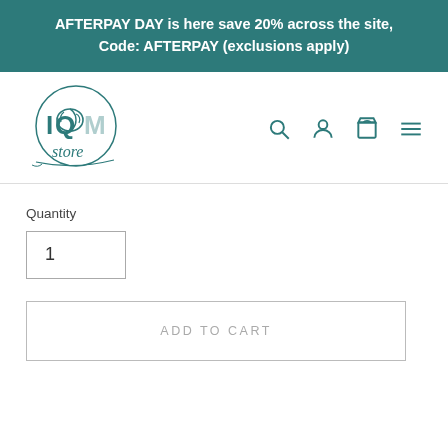AFTERPAY DAY is here save 20% across the site, Code: AFTERPAY (exclusions apply)
[Figure (logo): IQM Store logo — circular emblem with brain icon and stylized 'IQM store' text]
Quantity
1
ADD TO CART